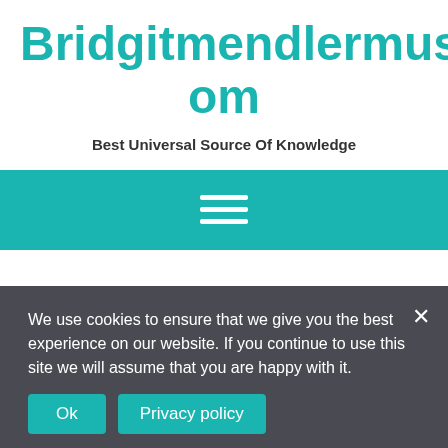Bridgitmendlermusic.Com
Best Universal Source Of Knowledge
[Figure (other): Teal navigation bar with hamburger menu icon (three horizontal white lines)]
We use cookies to ensure that we give you the best experience on our website. If you continue to use this site we will assume that you are happy with it.
Ok   Privacy policy
How to connect to do
dow
How to get support and